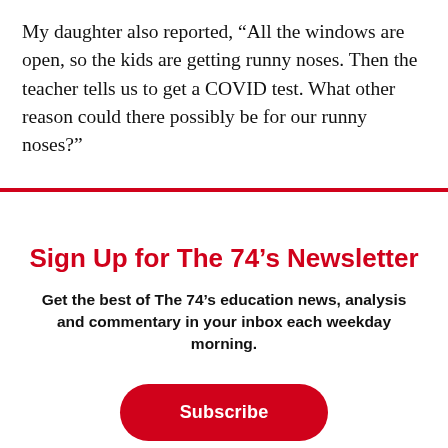My daughter also reported, “All the windows are open, so the kids are getting runny noses. Then the teacher tells us to get a COVID test. What other reason could there possibly be for our runny noses?”
Sign Up for The 74’s Newsletter
Get the best of The 74’s education news, analysis and commentary in your inbox each weekday morning.
Subscribe